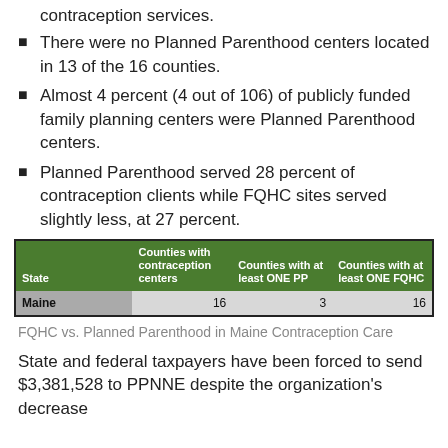contraception services.
There were no Planned Parenthood centers located in 13 of the 16 counties.
Almost 4 percent (4 out of 106) of publicly funded family planning centers were Planned Parenthood centers.
Planned Parenthood served 28 percent of contraception clients while FQHC sites served slightly less, at 27 percent.
| State | Counties with contraception centers | Counties with at least ONE PP | Counties with at least ONE FQHC |
| --- | --- | --- | --- |
| Maine | 16 | 3 | 16 |
FQHC vs. Planned Parenthood in Maine Contraception Care
State and federal taxpayers have been forced to send $3,381,528 to PPNNE despite the organization's decrease